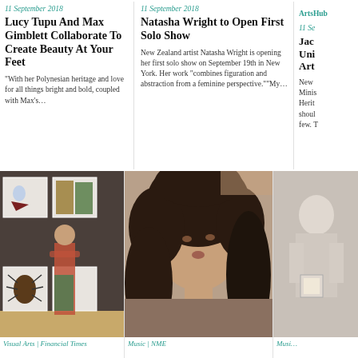11 September 2018
Lucy Tupu And Max Gimblett Collaborate To Create Beauty At Your Feet
“With her Polynesian heritage and love for all things bright and bold, coupled with Max’s…
11 September 2018
Natasha Wright to Open First Solo Show
New Zealand artist Natasha Wright is opening her first solo show on September 19th in New York. Her work “combines figuration and abstraction from a feminine perspective.””My…
ArtsHub
11 Se
Jac… Uni… Art…
New Minis Herit… shoul… few. T…
[Figure (photo): A man with curly hair standing in front of framed artworks on a gallery wall, wearing a floral shirt with arms crossed.]
Visual Arts | Financial Times
[Figure (photo): Close-up portrait of a young woman with long dark curly hair, looking upward.]
Music | NME
[Figure (photo): Partial image of a person in light-colored clothing.]
Musi…